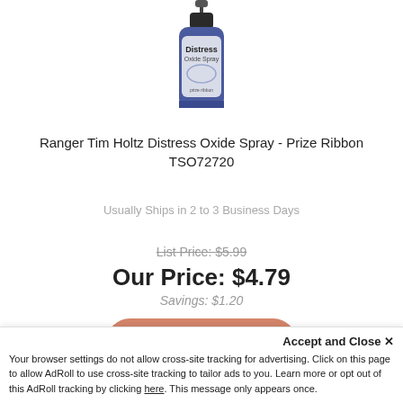[Figure (photo): Product image of Ranger Tim Holtz Distress Oxide Spray bottle in blue/purple (Prize Ribbon color)]
Ranger Tim Holtz Distress Oxide Spray - Prize Ribbon TSO72720
Usually Ships in 2 to 3 Business Days
List Price: $5.99
Our Price: $4.79
Savings: $1.20
ADD TO CART
Accept and Close ✕
Your browser settings do not allow cross-site tracking for advertising. Click on this page to allow AdRoll to use cross-site tracking to tailor ads to you. Learn more or opt out of this AdRoll tracking by clicking here. This message only appears once.